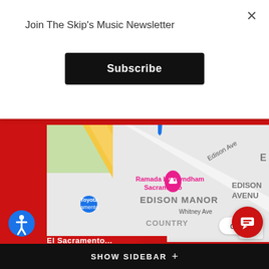Join The Skip's Music Newsletter
Subscribe
[Figure (map): Google Maps screenshot showing Edison Manor area, Sacramento, with Ramada by Wyndham Sacramento marker, Toyota Sacramento marker, Edison Ave label, Whitney Ave label, COUNTRY label, blue location pin]
close
[Figure (map): Google Maps screenshot showing area with Emerald Oak Dr, Williamson Dr, Emerald Park Dr, El Mirador, Dust Bowl Brew., Old Town Tap, blue and orange map pins]
Hi there, have a question? Text us here.
SHOW SIDEBAR +